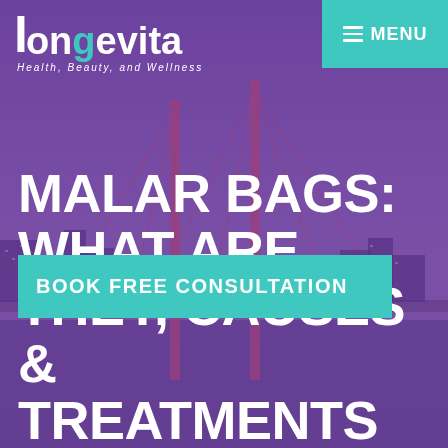[Figure (screenshot): Longevita Health, Beauty, and Wellness website hero section with purple-tinted city/bridge background image, logo in top left, MENU button in top right, large white title text, and teal CTA button]
longevita Health, Beauty, and Wellness
MALAR BAGS: WHAT ARE THEY, CAUSES & TREATMENTS
BOOK FREE CONSULTATION